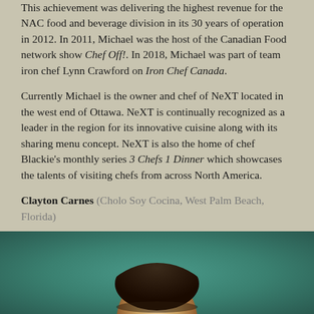This achievement was delivering the highest revenue for the NAC food and beverage division in its 30 years of operation in 2012. In 2011, Michael was the host of the Canadian Food network show Chef Off!. In 2018, Michael was part of team iron chef Lynn Crawford on Iron Chef Canada.
Currently Michael is the owner and chef of NeXT located in the west end of Ottawa. NeXT is continually recognized as a leader in the region for its innovative cuisine along with its sharing menu concept. NeXT is also the home of chef Blackie's monthly series 3 Chefs 1 Dinner which showcases the talents of visiting chefs from across North America.
Clayton Carnes (Cholo Soy Cocina, West Palm Beach, Florida)
[Figure (photo): Portrait photo of Clayton Carnes, partially visible at bottom of page, showing top of head/face against a teal/green background]